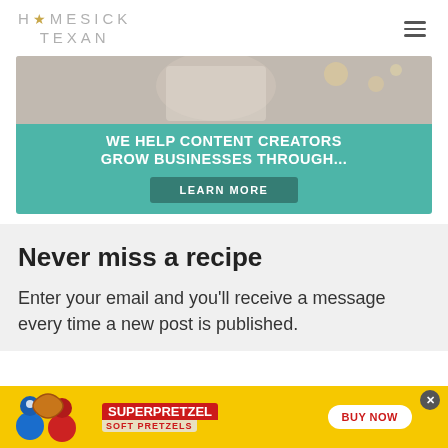HOMESICK TEXAN
[Figure (photo): Advertisement banner: woman working on laptop, with teal overlay reading 'WE HELP CONTENT CREATORS GROW BUSINESSES THROUGH...' and a 'LEARN MORE' button]
Never miss a recipe
Enter your email and you'll receive a message every time a new post is published.
[Figure (photo): SuperPretzel Soft Pretzels advertisement banner on yellow background with 'BUY NOW' button]